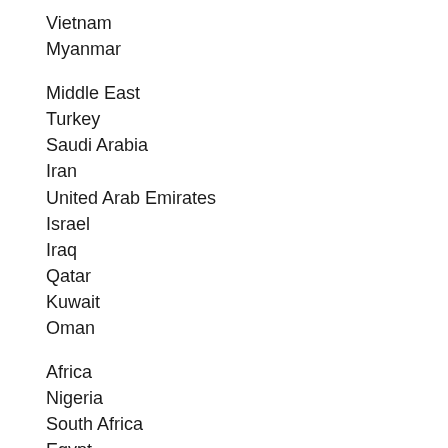Vietnam
Myanmar
Middle East
Turkey
Saudi Arabia
Iran
United Arab Emirates
Israel
Iraq
Qatar
Kuwait
Oman
Africa
Nigeria
South Africa
Egypt
Algeria